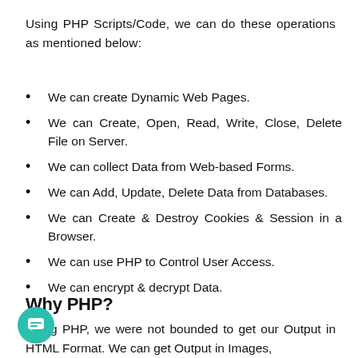Using PHP Scripts/Code, we can do these operations as mentioned below:
We can create Dynamic Web Pages.
We can Create, Open, Read, Write, Close, Delete File on Server.
We can collect Data from Web-based Forms.
We can Add, Update, Delete Data from Databases.
We can Create & Destroy Cookies & Session in a Browser.
We can use PHP to Control User Access.
We can encrypt & decrypt Data.
Why PHP?
Using PHP, we were not bounded to get our Output in HTML Format. We can get Output in Images,